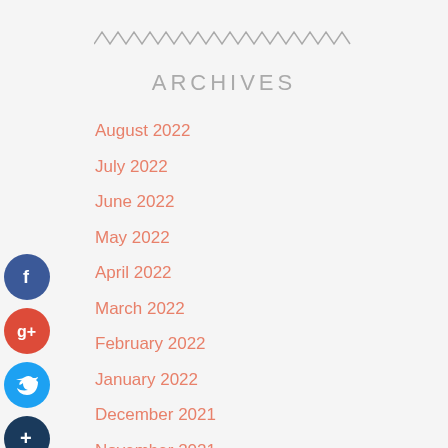[Figure (other): Zigzag/wavy decorative divider line]
ARCHIVES
August 2022
July 2022
June 2022
May 2022
April 2022
March 2022
February 2022
January 2022
December 2021
November 2021